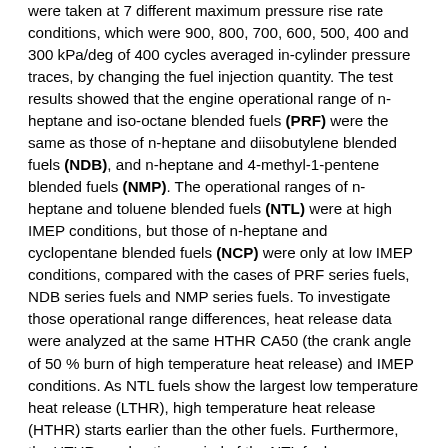were taken at 7 different maximum pressure rise rate conditions, which were 900, 800, 700, 600, 500, 400 and 300 kPa/deg of 400 cycles averaged in-cylinder pressure traces, by changing the fuel injection quantity. The test results showed that the engine operational range of n-heptane and iso-octane blended fuels (PRF) were the same as those of n-heptane and diisobutylene blended fuels (NDB), and n-heptane and 4-methyl-1-pentene blended fuels (NMP). The operational ranges of n-heptane and toluene blended fuels (NTL) were at high IMEP conditions, but those of n-heptane and cyclopentane blended fuels (NCP) were only at low IMEP conditions, compared with the cases of PRF series fuels, NDB series fuels and NMP series fuels. To investigate those operational range differences, heat release data were analyzed at the same HTHR CA50 (the crank angle of 50 % burn of high temperature heat release) and IMEP conditions. As NTL fuels show the largest low temperature heat release (LTHR), high temperature heat release (HTHR) starts earlier than the other fuels. Furthermore, the HTHR combustion period of the NTL fuels was longer than the other fuels, since the NTL fuels...